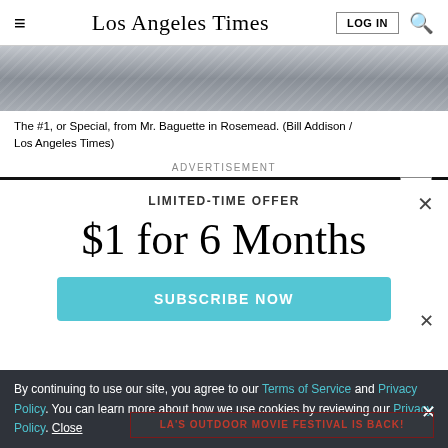Los Angeles Times | LOG IN | [search]
[Figure (photo): Close-up photo of fabric or textile surface in blue-gray tones, top portion of food/restaurant image]
The #1, or Special, from Mr. Baguette in Rosemead.  (Bill Addison / Los Angeles Times)
ADVERTISEMENT
LIMITED-TIME OFFER
$1 for 6 Months
SUBSCRIBE NOW
By continuing to use our site, you agree to our Terms of Service and Privacy Policy. You can learn more about how we use cookies by reviewing our Privacy Policy. Close
LA'S OUTDOOR MOVIE FESTIVAL IS BACK!